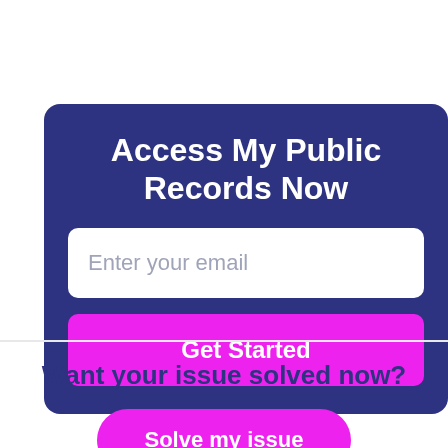Access My Public Records Now
Enter your email
Get Started
Want your issue solved now?
Solve my issue